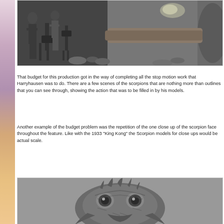[Figure (photo): Black and white behind-the-scenes photo showing film crew with cameras and equipment in what appears to be a cave or rocky set.]
That budget for this production got in the way of completing all the stop motion work that Harryhausen was to do. There are a few scenes of the scorpions that are nothing more than outlines that you can see through, showing the action that was to be filled in by his models.
Another example of the budget problem was the repetition of the one close up of the scorpion face throughout the feature. Like with the 1933 "King Kong" the Scorpion models for close ups would be actual scale.
[Figure (photo): Black and white close-up photo of a scorpion model or puppet face used in the film, showing detailed creature features.]